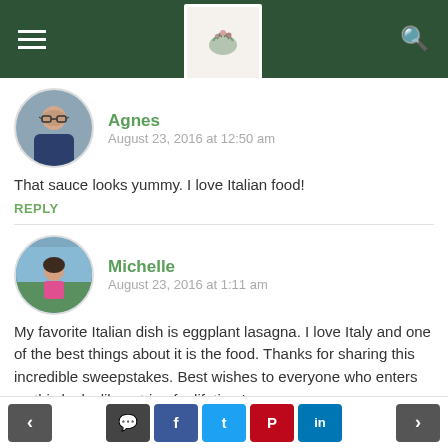Navigation bar with hamburger menu, logo, and search icon
Agnes
August 23, 2016 at 12:50 am
That sauce looks yummy. I love Italian food!
REPLY
Michelle
August 23, 2016 at 1:11 am
My favorite Italian dish is eggplant lasagna. I love Italy and one of the best things about it is the food. Thanks for sharing this incredible sweepstakes. Best wishes to everyone who enters as this looks like a trip of a lifetime!
< [comment] [facebook] [twitter] [pinterest] [linkedin] >